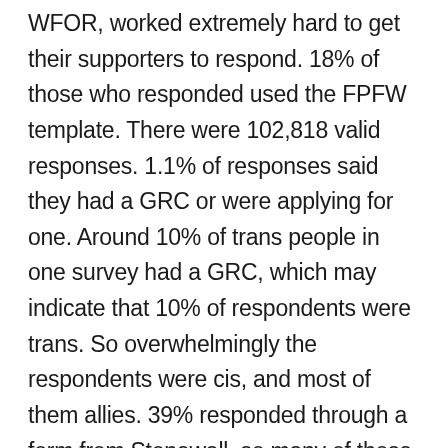WFOR, worked extremely hard to get their supporters to respond. 18% of those who responded used the FPFW template. There were 102,818 valid responses. 1.1% of responses said they had a GRC or were applying for one. Around 10% of trans people in one survey had a GRC, which may indicate that 10% of respondents were trans. So overwhelmingly the respondents were cis, and most of them allies. 39% responded through a form from Stonewall, so many of those may have been LGB allies. The feminist group Level Up, which campaigns on domestic violence, supported trans people and got 7% of respondents to use their online form. The analysis